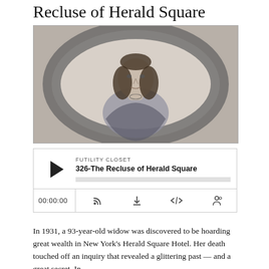Recluse of Herald Square
[Figure (photo): Old black and white portrait photograph of a young woman with long dark hair, wearing an off-shoulder dark dress, set in an oval vignette frame.]
[Figure (screenshot): Audio player widget showing 'FUTILITY CLOSET' as source, title '326-The Recluse of Herald Square', a play button, progress bar, time display 00:00:00, and control icons for RSS, download, embed code, and speed.]
In 1931, a 93-year-old widow was discovered to be hoarding great wealth in New York's Herald Square Hotel. Her death touched off an inquiry that revealed a glittering past — and a great secret. In